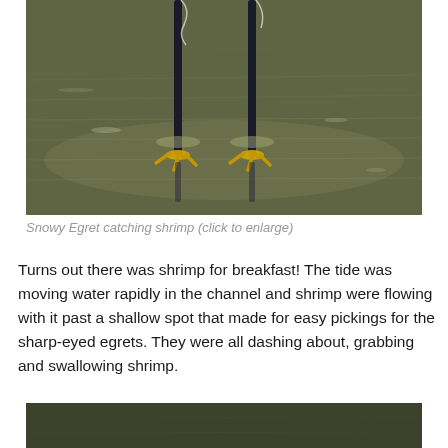[Figure (photo): Close-up photograph of a Snowy Egret's legs and yellow feet standing in shallow water, with rippling water visible in the background.]
Snowy Egret catching shrimp (click to enlarge)
Turns out there was shrimp for breakfast! The tide was moving water rapidly in the channel and shrimp were flowing with it past a shallow spot that made for easy pickings for the sharp-eyed egrets. They were all dashing about, grabbing and swallowing shrimp.
[Figure (photo): Partial view of another photograph below, showing a dark olive/green background (water or marshland).]